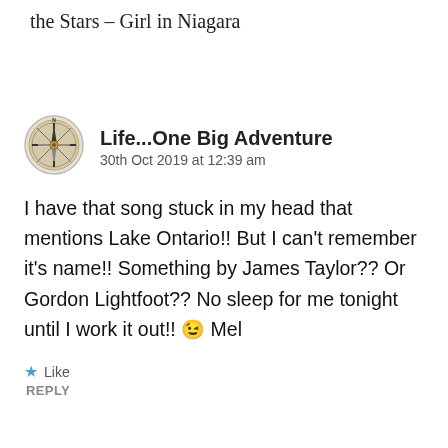the Stars – Girl in Niagara
Life...One Big Adventure
30th Oct 2019 at 12:39 am
I have that song stuck in my head that mentions Lake Ontario!! But I can't remember it's name!! Something by James Taylor?? Or Gordon Lightfoot?? No sleep for me tonight until I work it out!! 😉 Mel
Like
REPLY